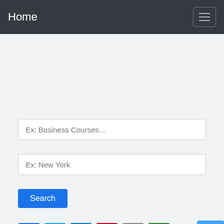Home
Ex: Business Courses...
Ex: New York
Search
[Figure (screenshot): Social share icons row: Facebook, Twitter, LinkedIn, Pinterest, Reddit, Email, and a blue scroll-to-top button on the right]